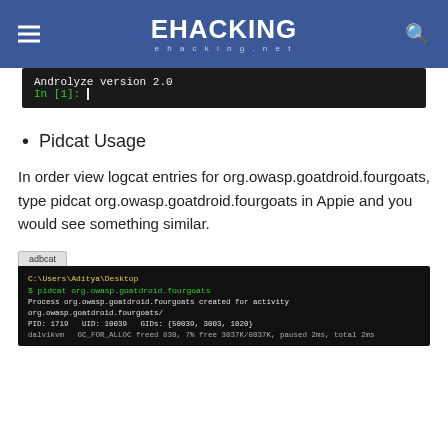EHACKING ehacking.net
[Figure (screenshot): Terminal screenshot showing 'Androlyze version 2.0' and 'In [1]:' prompt on dark background]
Pidcat Usage
In order view logcat entries for org.owasp.goatdroid.fourgoats, type pidcat org.owasp.goatdroid.fourgoats in Appie and you would see something similar.
[Figure (screenshot): Terminal screenshot showing pidcat output for org.owasp.goatdroid.fourgoats with process, PID, UID, GIDs info and dalvikvm log output]